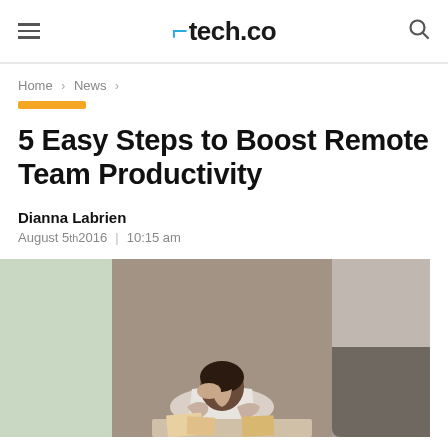tech.co
Home > News >
5 Easy Steps to Boost Remote Team Productivity
Dianna Labrien
August 5th 2016  |  10:15 am
[Figure (photo): Person sitting at a desk looking stressed, head resting on hand, with papers and items on the desk. Photo is shown in a wide cropped banner format with green panel on left and grey panel on right.]